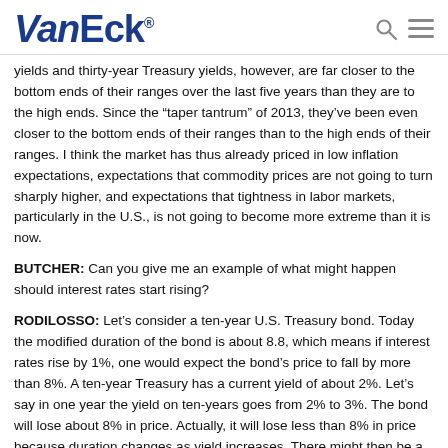VanEck
yields and thirty-year Treasury yields, however, are far closer to the bottom ends of their ranges over the last five years than they are to the high ends. Since the “taper tantrum” of 2013, they’ve been even closer to the bottom ends of their ranges than to the high ends of their ranges. I think the market has thus already priced in low inflation expectations, expectations that commodity prices are not going to turn sharply higher, and expectations that tightness in labor markets, particularly in the U.S., is not going to become more extreme than it is now.
BUTCHER: Can you give me an example of what might happen should interest rates start rising?
RODILOSSO: Let’s consider a ten-year U.S. Treasury bond. Today the modified duration of the bond is about 8.8, which means if interest rates rise by 1%, one would expect the bond’s price to fall by more than 8%. A ten-year Treasury has a current yield of about 2%. Let’s say in one year the yield on ten-years goes from 2% to 3%. The bond will lose about 8% in price. Actually, it will lose less than 8% in price because duration changes as yield increases. There might then be a 7.5% change in price and a 2% current yield. Over that period, however, total return is -5.5%, which represents a fairly significant loss for a risk-free bond investment. That is the mark-to-market effect if you sell those bonds.
If you own two-year Treasuries, which have a duration of about 1.9, and they go